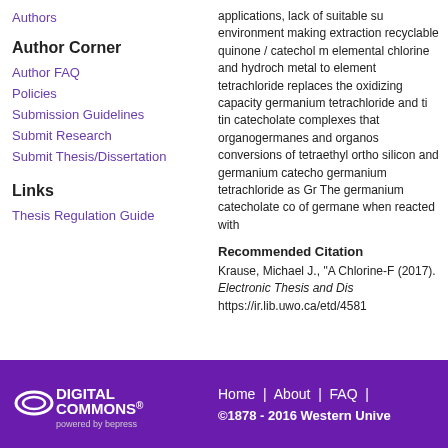Authors
Author Corner
Author FAQ
Policies
Submission Guidelines
Submit Research
Submit Thesis/Dissertation
Links
Thesis Regulation Guide
applications, lack of suitable su environment making extraction recyclable quinone / catechol m elemental chlorine and hydroch metal to element tetrachloride replaces the oxidizing capacity germanium tetrachloride and ti tin catecholate complexes that organogermanes and organos conversions of tetraethyl ortho silicon and germanium catecho germanium tetrachloride as Gr The germanium catecholate co of germane when reacted with
Recommended Citation
Krause, Michael J., "A Chlorine-F (2017). Electronic Thesis and Dis https://ir.lib.uwo.ca/etd/4581
Home | About | FAQ | ©1878 - 2016 Western Unive